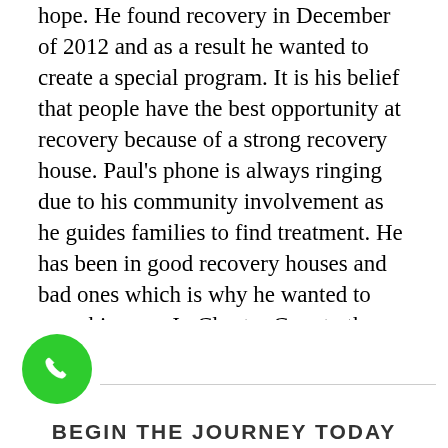hope. He found recovery in December of 2012 and as a result he wanted to create a special program. It is his belief that people have the best opportunity at recovery because of a strong recovery house. Paul's phone is always ringing due to his community involvement as he guides families to find treatment. He has been in good recovery houses and bad ones which is why he wanted to open his own. In Chester County there are little to no resources. It is his goal to bridge the gap!
[Figure (illustration): Green circular phone icon button]
BEGIN THE JOURNEY TODAY